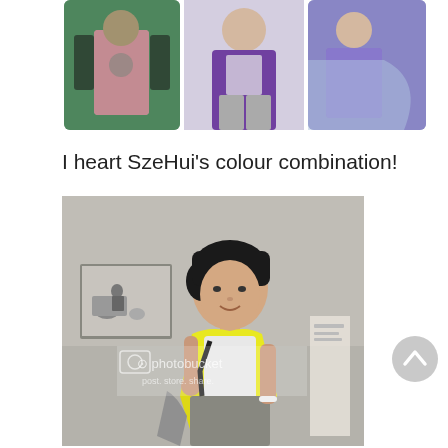[Figure (photo): A horizontal strip of three photos showing people in colorful outfits. Left: woman in pink top with black jacket. Center: person in purple polo shirt with gray pants. Right: person in purple/blue clothing.]
I heart SzeHui's colour combination!
[Figure (photo): A young Asian woman with short black hair wearing a yellow scarf/wrap over a white top and gray skirt, standing in front of a gray wall with a black-and-white framed photograph visible in the background. A Photobucket watermark is visible on the image.]